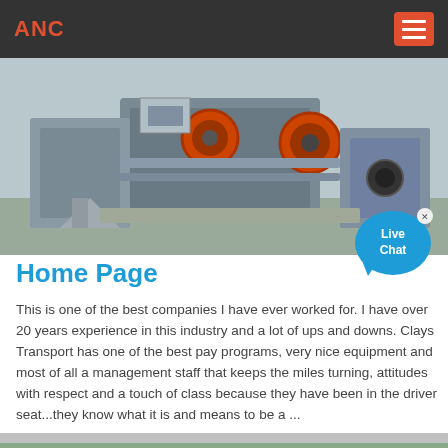ANC
[Figure (photo): Industrial machinery photo showing large metal equipment with orange circular components and structural supports, taken outdoors.]
Home Page
This is one of the best companies I have ever worked for. I have over 20 years experience in this industry and a lot of ups and downs. Clays Transport has one of the best pay programs, very nice equipment and most of all a management staff that keeps the miles turning, attitudes with respect and a touch of class because they have been in the driver seat...they know what it is and means to be a ...